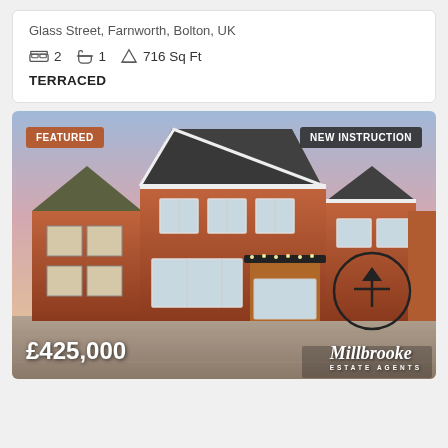Glass Street, Farnworth, Bolton, UK
2 bedrooms, 1 bathroom, 716 Sq Ft
TERRACED
[Figure (photo): Exterior photo of a red brick detached house with gabled roof, white windows, porch with fairy lights, driveway with gravel, at dusk with a pink and blue sky. Overlaid badges: FEATURED (top left, orange/brown background), NEW INSTRUCTION (top right, dark background). Price £425,000 bottom left. Millbrooke estate agents logo bottom right. Circle with up-arrow watermark on right side.]
£425,000